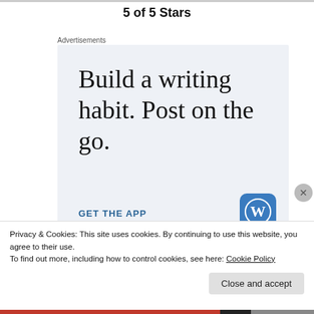5 of 5 Stars
Advertisements
[Figure (screenshot): Advertisement banner with light blue background showing text 'Build a writing habit. Post on the go.' with a 'GET THE APP' call-to-action and WordPress logo icon.]
Privacy & Cookies: This site uses cookies. By continuing to use this website, you agree to their use.
To find out more, including how to control cookies, see here: Cookie Policy